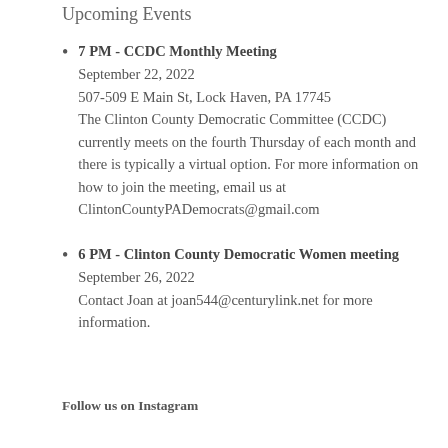Upcoming Events
7 PM - CCDC Monthly Meeting
September 22, 2022
507-509 E Main St, Lock Haven, PA 17745
The Clinton County Democratic Committee (CCDC) currently meets on the fourth Thursday of each month and there is typically a virtual option. For more information on how to join the meeting, email us at ClintonCountyPADemocrats@gmail.com
6 PM - Clinton County Democratic Women meeting
September 26, 2022
Contact Joan at joan544@centurylink.net for more information.
Follow us on Instagram